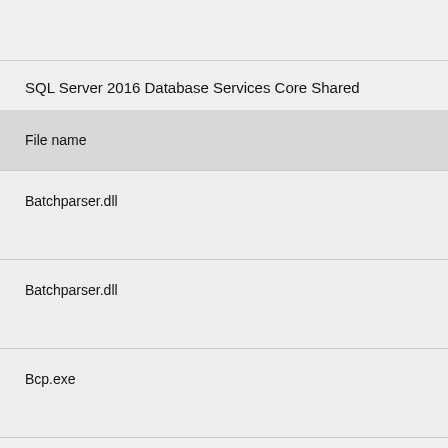SQL Server 2016 Database Services Core Shared
| File name |
| --- |
| Batchparser.dll |
| Batchparser.dll |
| Bcp.exe |